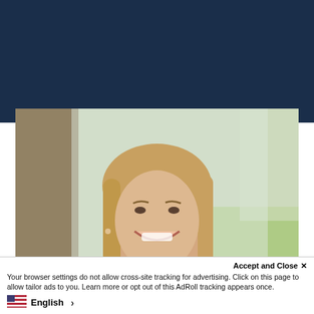[Figure (photo): Dark navy blue header background area at the top of the webpage]
[Figure (photo): Professional headshot of a young smiling woman with long blonde hair, wearing a light-colored top, with a blurred outdoor campus background]
Accept and Close ✕
Your browser settings do not allow cross-site tracking for advertising. Click on this page to allow tailor ads to you. Learn more or opt out of this AdRoll tracking appears once.
English >